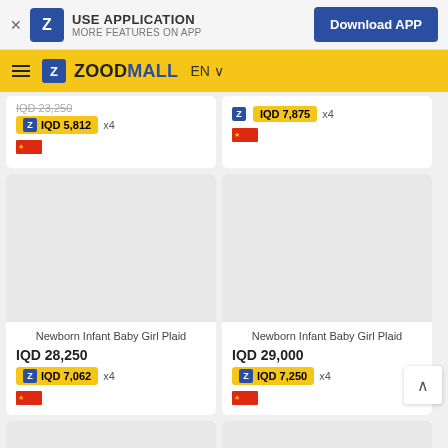USE APPLICATION - MORE FEATURES ON APP - Download APP
ZOODMALL EN
IQD 23,250
IQD 5,812 x4
IQD 7,875 x4
Newborn Infant Baby Girl Plaid
IQD 28,250
IQD 7,062 x4
Newborn Infant Baby Girl Plaid
IQD 29,000
IQD 7,250 x4